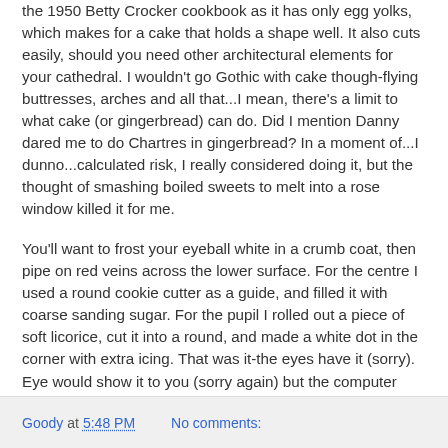the 1950 Betty Crocker cookbook as it has only egg yolks, which makes for a cake that holds a shape well. It also cuts easily, should you need other architectural elements for your cathedral. I wouldn't go Gothic with cake though-flying buttresses, arches and all that...I mean, there's a limit to what cake (or gingerbread) can do. Did I mention Danny dared me to do Chartres in gingerbread? In a moment of...I dunno...calculated risk, I really considered doing it, but the thought of smashing boiled sweets to melt into a rose window killed it for me.
You'll want to frost your eyeball white in a crumb coat, then pipe on red veins across the lower surface. For the centre I used a round cookie cutter as a guide, and filled it with coarse sanding sugar. For the pupil I rolled out a piece of soft licorice, cut it into a round, and made a white dot in the corner with extra icing. That was it-the eyes have it (sorry). Eye would show it to you (sorry again) but the computer won't recognise my camera. Eye need to get that fixed (gah).
Goody at 5:48 PM   No comments: